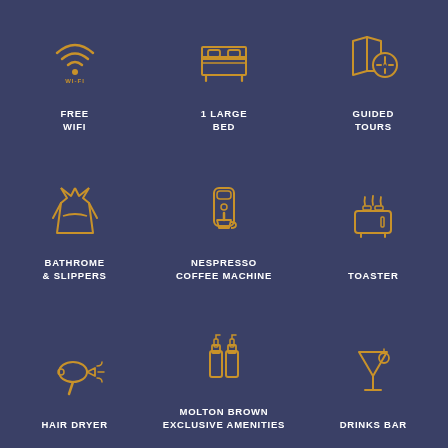[Figure (infographic): 9-cell grid of hotel amenity icons on dark navy background with gold icons and white labels]
FREE WIFI
1 LARGE BED
GUIDED TOURS
BATHROME & SLIPPERS
NESPRESSO COFFEE MACHINE
TOASTER
HAIR DRYER
MOLTON BROWN EXCLUSIVE AMENITIES
DRINKS BAR